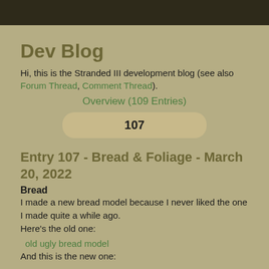Dev Blog
Hi, this is the Stranded III development blog (see also Forum Thread, Comment Thread).
Overview (109 Entries)
107
Entry 107 - Bread & Foliage - March 20, 2022
Bread
I made a new bread model because I never liked the one I made quite a while ago.
Here's the old one:
old ugly bread model
And this is the new one: